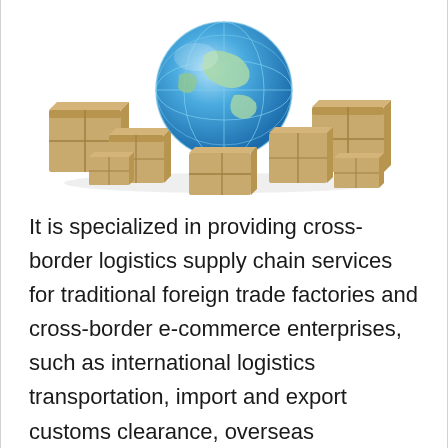[Figure (illustration): A blue globe surrounded by cardboard shipping boxes of various sizes arranged in a semicircle]
It is specialized in providing cross-border logistics supply chain services for traditional foreign trade factories and cross-border e-commerce enterprises, such as international logistics transportation, import and export customs clearance, overseas warehousing, inventory management, order fulfillment, local return and exchange, product distribution and so on. This time, iPayLinks and Leyu cross-border will further provide cross-border sellers